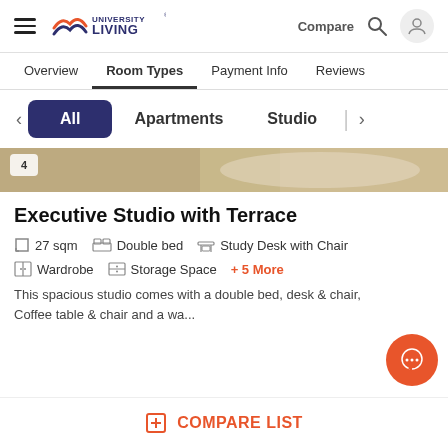University Living — Compare, Search, User icon
Overview   Room Types   Payment Info   Reviews
All   Apartments   Studio
[Figure (photo): Partial view of a room/bed image strip with badge showing '4']
Executive Studio with Terrace
27 sqm   Double bed   Study Desk with Chair
Wardrobe   Storage Space   + 5 More
This spacious studio comes with a double bed, desk & chair, Coffee table & chair and a wa...
COMPARE LIST